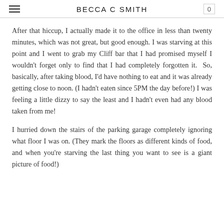BECCA C SMITH
After that hiccup, I actually made it to the office in less than twenty minutes, which was not great, but good enough. I was starving at this point and I went to grab my Cliff bar that I had promised myself I wouldn't forget only to find that I had completely forgotten it.  So, basically, after taking blood, I'd have nothing to eat and it was already getting close to noon. (I hadn't eaten since 5PM the day before!) I was feeling a little dizzy to say the least and I hadn't even had any blood taken from me!
I hurried down the stairs of the parking garage completely ignoring what floor I was on. (They mark the floors as different kinds of food, and when you're starving the last thing you want to see is a giant picture of food!)